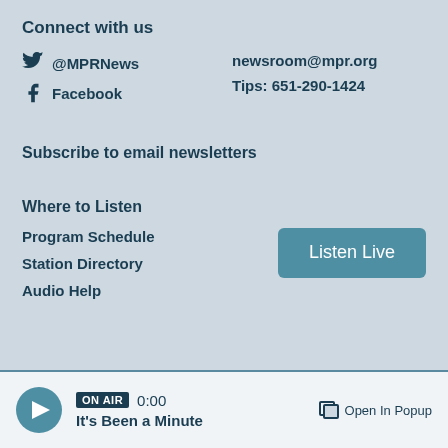Connect with us
@MPRNews
newsroom@mpr.org
Facebook
Tips: 651-290-1424
Subscribe to email newsletters
Where to Listen
Program Schedule
Station Directory
Audio Help
Listen Live
ON AIR 0:00 It's Been a Minute  Open In Popup